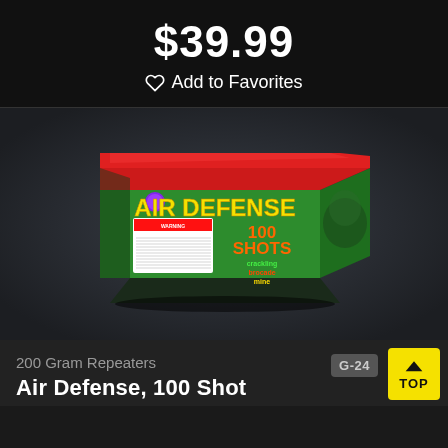$39.99
♡ Add to Favorites
[Figure (photo): Product photo of 'Air Defense 100 Shots' fireworks box — green and red box with yellow text, warning label on front, on a dark gradient background.]
200 Gram Repeaters
G-24...
Air Defense, 100 Shot